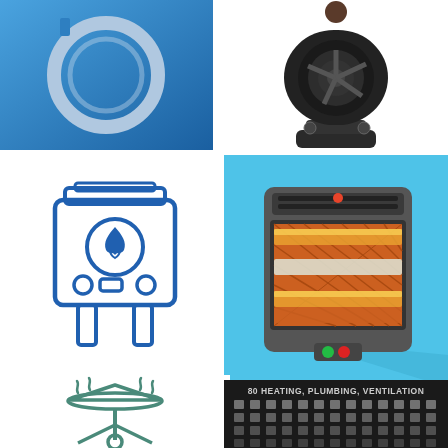[Figure (illustration): Blue square background with a gray circular hose/ring illustration - propane or gas hose icon]
[Figure (illustration): Electric space heater fan on a dark stand with knobs, dome-shaped fan heater icon]
[Figure (illustration): Blue line art icon of a gas boiler/furnace unit with flame symbol and control dials]
[Figure (illustration): Light blue square background with a flat design electric infrared space heater showing orange heating elements and indicator lights]
[Figure (illustration): Line art icon of a patio/outdoor gas heater on tripod legs with heat waves]
[Figure (illustration): Black tile showing 80 heating, plumbing, ventilation icons in a grid layout with text label '80 HEATING, PLUMBING, VENTILATION']